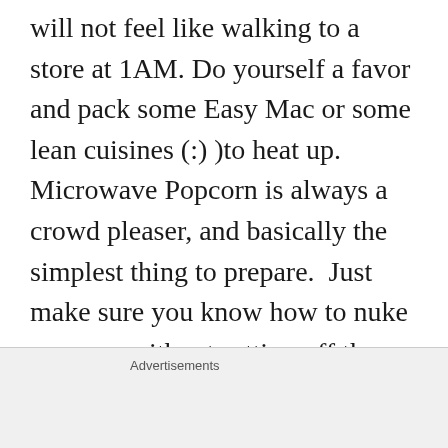will not feel like walking to a store at 1AM. Do yourself a favor and pack some Easy Mac or some lean cuisines (:) )to heat up.  Microwave Popcorn is always a crowd pleaser, and basically the simplest thing to prepare.  Just make sure you know how to nuke popcorn without setting off the fire alarms.  Many colleges offer a refrigerator/microwave rental...It’s up to you if you want to rent it for $75 and have the luxury of having it waiting in your room (my recommendation), or buy it at Target, for $150 or
Advertisements